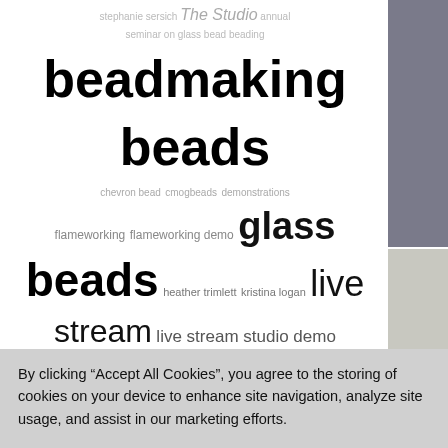stephanie sersich The Studio annual seminar on glass bead beading
[Figure (other): Tag cloud with beadmaking/glass bead related terms in varying sizes: beadmaking, beads (large), chevron bead, cmogbeads, demonstrations, flameworking, flameworking demo, glass (large), beads (large bold), heather trimlett, kristina logan, live stream (large), live stream studio demo, live streaming (medium), live studio demonstrations, master class, studio, studio demonstration, 2300, 108239, 134322, 134544, 138445]
[Figure (photo): Photo of a woman with purple-tinted glasses in a pink/magenta top working on glass beadmaking]
[Figure (photo): Photo of a woman with short grey hair in dark clothing working on a studio demonstration at The Studio]
Master Class
Video
Kristina Logan she combines Logan demon and
Studio Demo
Video
Watch Heathe at The Studio the maximum
By clicking “Accept All Cookies”, you agree to the storing of cookies on your device to enhance site navigation, analyze site usage, and assist in our marketing efforts.